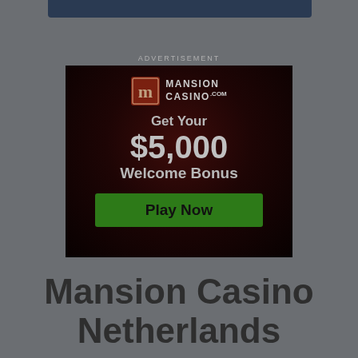[Figure (illustration): Dark blue top navigation bar at the top of the page]
ADVERTISEMENT
[Figure (screenshot): Mansion Casino advertisement banner with dark red/black background showing logo, 'Get Your $5,000 Welcome Bonus' text, and green 'Play Now' button]
Mansion Casino Netherlands